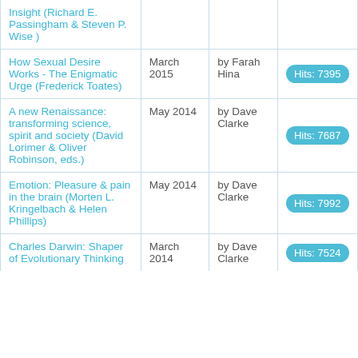| Title | Date | Author | Hits |
| --- | --- | --- | --- |
| Insight (Richard E. Passingham & Steven P. Wise) |  |  |  |
| How Sexual Desire Works - The Enigmatic Urge (Frederick Toates) | March 2015 | by Farah Hina | Hits: 7395 |
| A new Renaissance: transforming science, spirit and society (David Lorimer & Oliver Robinson, eds.) | May 2014 | by Dave Clarke | Hits: 7687 |
| Emotion: Pleasure & pain in the brain (Morten L. Kringelbach & Helen Phillips) | May 2014 | by Dave Clarke | Hits: 7992 |
| Charles Darwin: Shaper of Evolutionary Thinking | March 2014 | by Dave Clarke | Hits: 7524 |